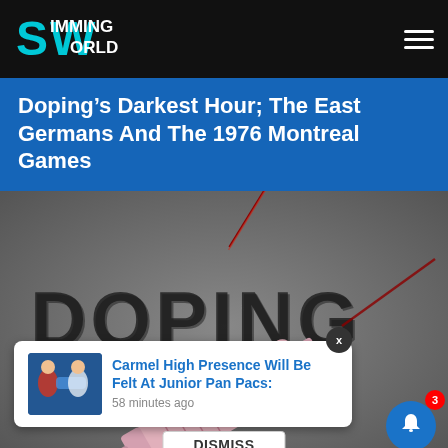Swimming World
Doping’s Darkest Hour; The East Germans And The 1976 Montreal Games
[Figure (photo): Close-up photo of a pink medical syringe with a needle, with the word DOPING blurred in the background on a dark grey surface.]
Carmel High Presence Will Be Felt At Junior Pan Pacs:
58 minutes ago
DISMISS